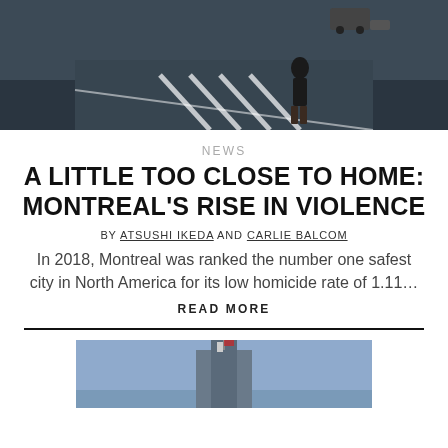[Figure (photo): Street scene from above, person standing on a crosswalk at night or dusk]
NEWS
A LITTLE TOO CLOSE TO HOME: MONTREAL'S RISE IN VIOLENCE
BY ATSUSHI IKEDA AND CARLIE BALCOM
In 2018, Montreal was ranked the number one safest city in North America for its low homicide rate of 1.11…
READ MORE
[Figure (photo): Building or tower against a blue sky, partially visible at bottom of page]